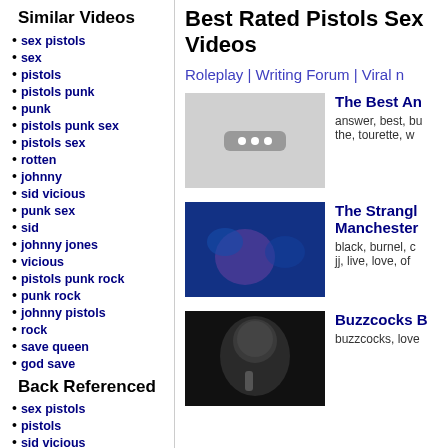Similar Videos
sex pistols
sex
pistols
pistols punk
punk
pistols punk sex
pistols sex
rotten
johnny
sid vicious
punk sex
sid
johnny jones
vicious
pistols punk rock
punk rock
johnny pistols
rock
save queen
god save
Back Referenced
sex pistols
pistols
sid vicious
sid
Best Rated Pistols Sex Videos
Roleplay | Writing Forum | Viral n
[Figure (screenshot): Video thumbnail placeholder with dots]
The Best An
answer, best, bu
the, tourette, w
[Figure (photo): Blue-tinted concert photo of band performance]
The Strangl
Manchester
black, burnel, c
jj, live, love, of
[Figure (photo): Dark photo of singer performing with microphone]
Buzzcocks B
buzzcocks, love